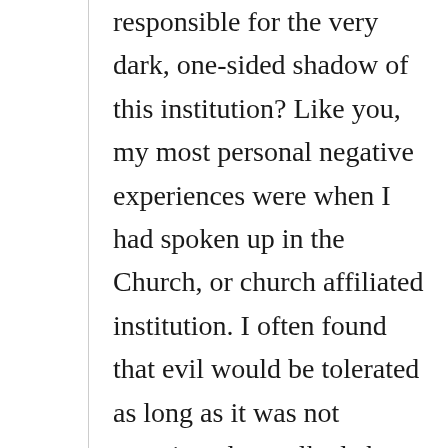responsible for the very dark, one-sided shadow of this institution? Like you, my most personal negative experiences were when I had spoken up in the Church, or church affiliated institution. I often found that evil would be tolerated as long as it was not questioned, or talked about; and if you spoke about it, your motives and even your sanity